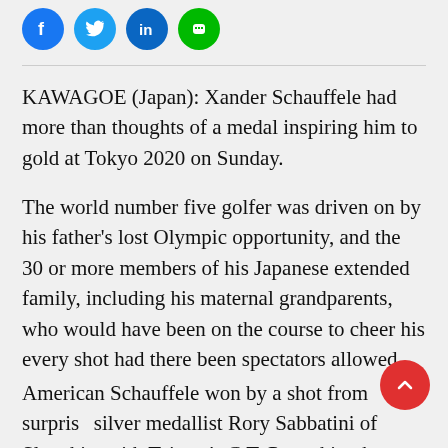[Figure (infographic): Row of four social media sharing icons: Facebook (blue circle), Twitter (light blue circle), LinkedIn (dark blue circle), Line (green circle)]
KAWAGOE (Japan): Xander Schauffele had more than thoughts of a medal inspiring him to gold at Tokyo 2020 on Sunday.
The world number five golfer was driven on by his father's lost Olympic opportunity, and the 30 or more members of his Japanese extended family, including his maternal grandparents, who would have been on the course to cheer his every shot had there been spectators allowed.
American Schauffele won by a shot from surprise silver medallist Rory Sabbatini of Slovakia, with Taiwan's C.T. Pan taking bronze after an epic seven-